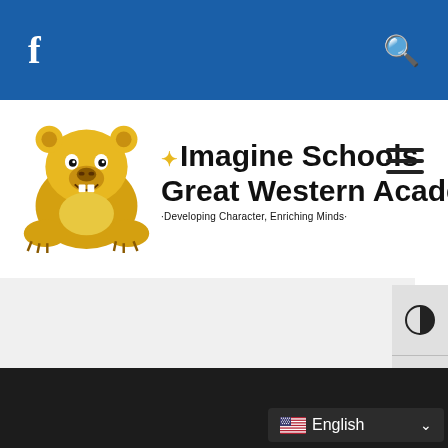Facebook icon | Search icon — navigation bar
[Figure (logo): Imagine Schools Great Western Academy logo with yellow bear mascot and sunburst icon. Tagline: Developing Character, Enriching Minds]
[Figure (other): Hamburger menu icon (three horizontal lines)]
[Figure (other): Accessibility panel with contrast toggle and text size buttons]
[Figure (other): Language selector showing US flag and English with dropdown chevron]